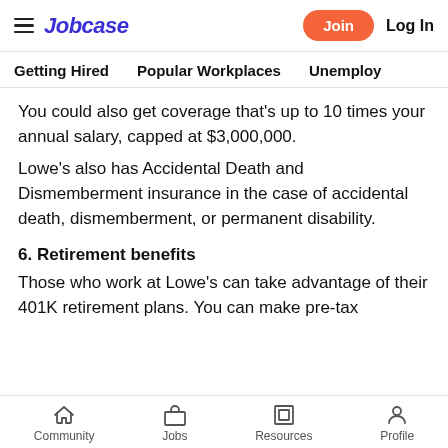Jobcase | Join | Log In
Getting Hired   Popular Workplaces   Unemploy
You could also get coverage that's up to 10 times your annual salary, capped at $3,000,000.
Lowe's also has Accidental Death and Dismemberment insurance in the case of accidental death, dismemberment, or permanent disability.
6. Retirement benefits
Those who work at Lowe's can take advantage of their 401K retirement plans. You can make pre-tax
Community   Jobs   Resources   Profile